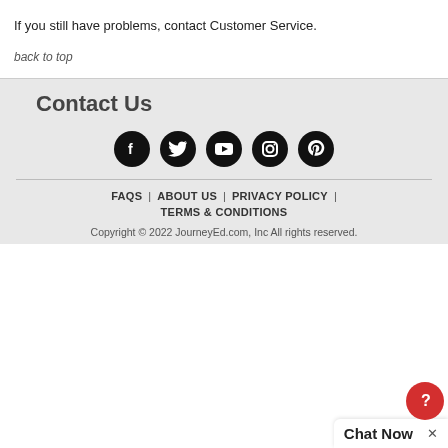If you still have problems, contact Customer Service.
back to top
Contact Us
[Figure (illustration): Five social media icons (Facebook, Twitter, YouTube, Instagram, Pinterest) as white icons on black circles]
FAQS | ABOUT US | PRIVACY POLICY | TERMS & CONDITIONS
Copyright © 2022 JourneyEd.com, Inc All rights reserved.